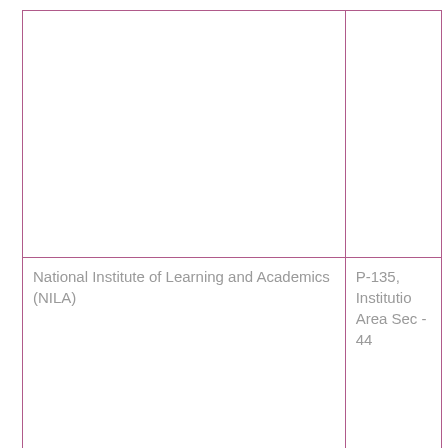|  |  |
| National Institute of Learning and Academics (NILA) | P-135, Institutio Area Sec - 44 |